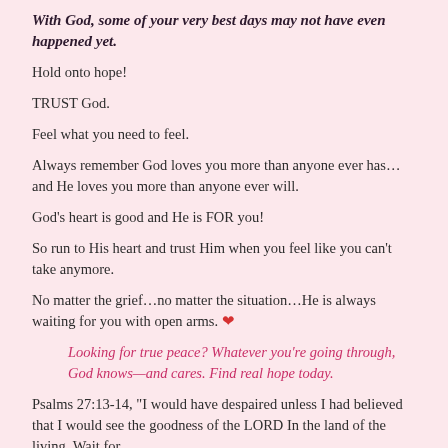With God, some of your very best days may not have even happened yet.
Hold onto hope!
TRUST God.
Feel what you need to feel.
Always remember God loves you more than anyone ever has…and He loves you more than anyone ever will.
God's heart is good and He is FOR you!
So run to His heart and trust Him when you feel like you can't take anymore.
No matter the grief…no matter the situation…He is always waiting for you with open arms. ❤
Looking for true peace? Whatever you're going through, God knows—and cares. Find real hope today.
Psalms 27:13-14, "I would have despaired unless I had believed that I would see the goodness of the LORD In the land of the living. Wait for